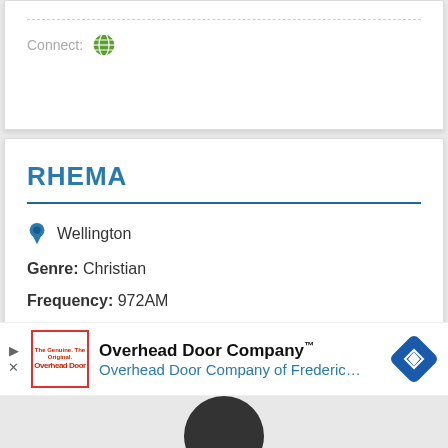Connect:
RHEMA
Wellington
Genre: Christian
Frequency: 972AM
Connect:
Overhead Door Company™ Overhead Door Company of Frederic...